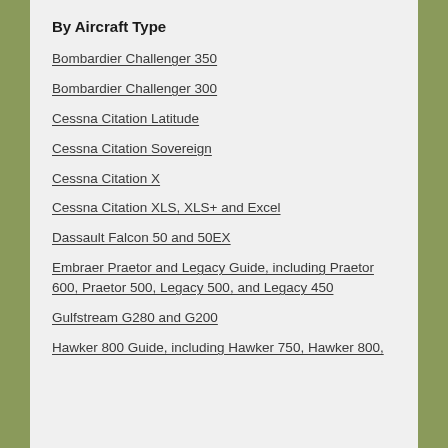By Aircraft Type
Bombardier Challenger 350
Bombardier Challenger 300
Cessna Citation Latitude
Cessna Citation Sovereign
Cessna Citation X
Cessna Citation XLS, XLS+ and Excel
Dassault Falcon 50 and 50EX
Embraer Praetor and Legacy Guide, including Praetor 600, Praetor 500, Legacy 500, and Legacy 450
Gulfstream G280 and G200
Hawker 800 Guide, including Hawker 750, Hawker 800,